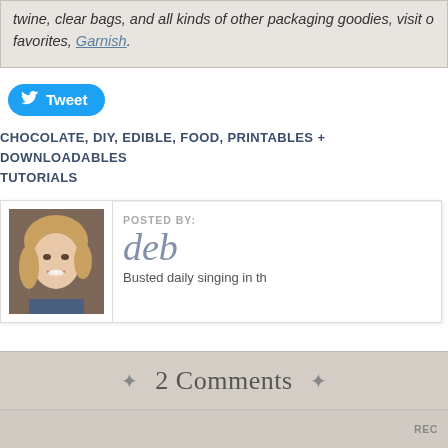twine, clear bags, and all kinds of other packaging goodies, visit our favorites, Garnish.
[Figure (other): Twitter Tweet button (blue rounded button with Twitter bird icon and 'Tweet' text)]
CHOCOLATE, DIY, EDIBLE, FOOD, PRINTABLES + DOWNLOADABLES, TUTORIALS
[Figure (photo): Author photo: smiling woman with blonde hair]
POSTED BY:
deb
Busted daily singing in th
2 Comments